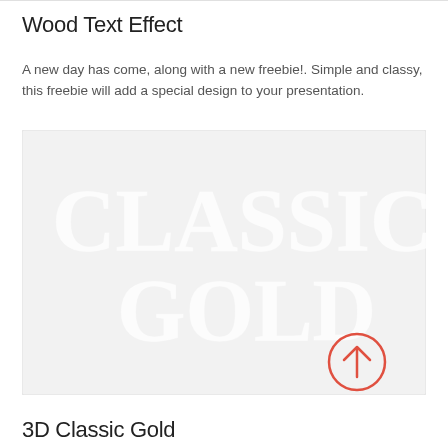Wood Text Effect
A new day has come, along with a new freebie!. Simple and classy, this freebie will add a special design to your presentation.
[Figure (illustration): A light gray preview image showing large decorative text reading 'CLASSIC GOLD' in a faded white/light style on a gray background, with a red circular arrow-up icon in the bottom right corner.]
3D Classic Gold